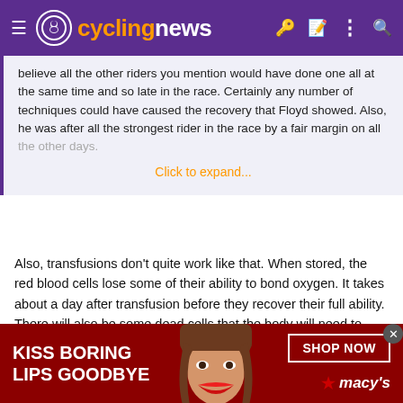cyclingnews
believe all the other riders you mention would have done one all at the same time and so late in the race. Certainly any number of techniques could have caused the recovery that Floyd showed. Also, he was after all the strongest rider in the race by a fair margin on all the other days.
Click to expand...
Also, transfusions don't quite work like that. When stored, the red blood cells lose some of their ability to bond oxygen. It takes about a day after transfusion before they recover their full ability. There will also be some dead cells that the body will need to process and eliminate.
That's why the tradition has been to take a blood bag on the rest days so that you have a day to recover.
[Figure (advertisement): Macy's ad banner: KISS BORING LIPS GOODBYE with SHOP NOW button and Macy's star logo on dark red background]